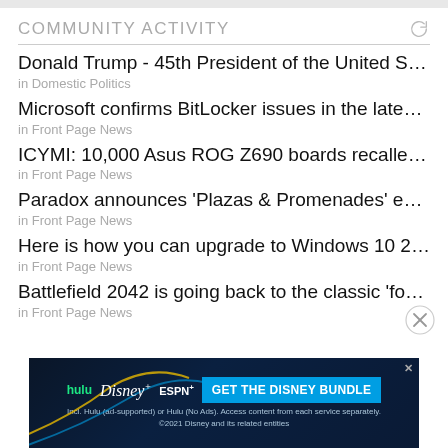COMMUNITY ACTIVITY
Donald Trump - 45th President of the United States
in Domestic Politics
Microsoft confirms BitLocker issues in the latest Windo...
in Front Page News
ICYMI: 10,000 Asus ROG Z690 boards recalled due to da...
in Front Page News
Paradox announces 'Plazas & Promenades' expansion f...
in Front Page News
Here is how you can upgrade to Windows 10 22H2 right...
in Front Page News
Battlefield 2042 is going back to the classic 'four class' s...
in Front Page News
[Figure (screenshot): Advertisement banner for the Disney Bundle featuring Hulu, Disney+, and ESPN+ logos with a blue 'GET THE DISNEY BUNDLE' call-to-action button on a dark background.]